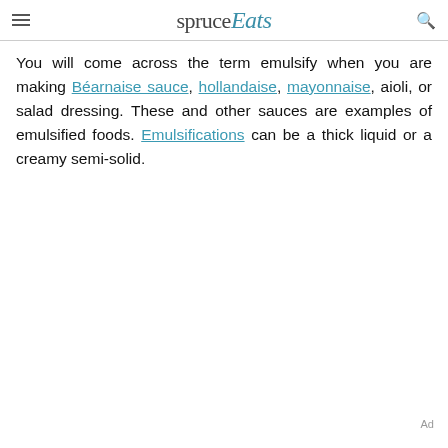spruce Eats
You will come across the term emulsify when you are making Béarnaise sauce, hollandaise, mayonnaise, aioli, or salad dressing. These and other sauces are examples of emulsified foods. Emulsifications can be a thick liquid or a creamy semi-solid.
Ad